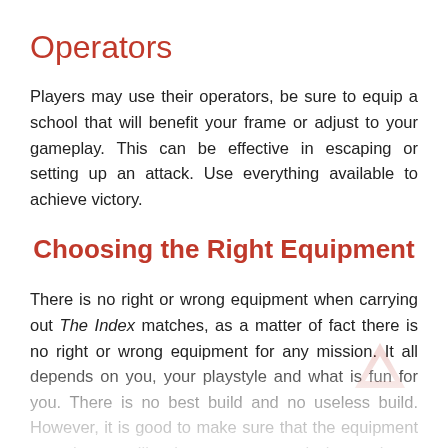Operators
Players may use their operators, be sure to equip a school that will benefit your frame or adjust to your gameplay. This can be effective in escaping or setting up an attack. Use everything available to achieve victory.
Choosing the Right Equipment
There is no right or wrong equipment when carrying out The Index matches, as a matter of fact there is no right or wrong equipment for any mission. It all depends on you, your playstyle and what is fun for you. There is no best build and no useless build. However, it is good to make sure that the equipment you choose will suit you on your mission and you know what to do once you begin instead of going in with a random...